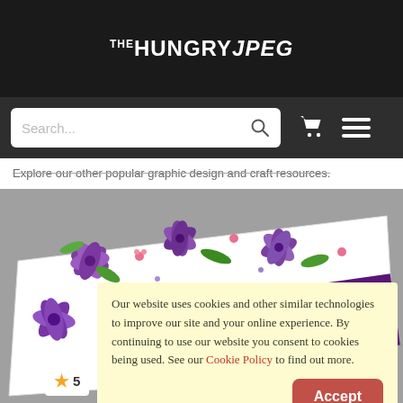THE HUNGRY JPEG
[Figure (screenshot): Website search bar with cart and menu icons on dark background]
Explore our other popular graphic design and craft resources.
[Figure (photo): Business card with purple floral watercolor pattern and the name Alia]
Our website uses cookies and other similar technologies to improve our site and your online experience. By continuing to use our website you consent to cookies being used. See our Cookie Policy to find out more.
Accept
5